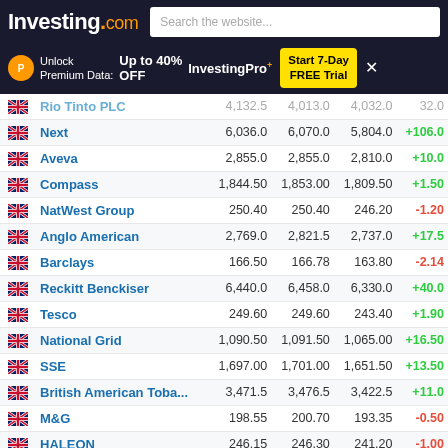Investing.com — Search the website...
Unlock Premium Data: Up to 40% OFF  InvestingPro+  Start 7-Day FREE Trial
|  | Name | Price | High | Low | Chg |
| --- | --- | --- | --- | --- | --- |
| 🇬🇧 | Rio Tinto PLC | 4,132.5 | 4,013.0 | 4,032.0 | 32.0 |
| 🇬🇧 | Next | 6,036.0 | 6,070.0 | 5,804.0 | +106.0 |
| 🇬🇧 | Aveva | 2,855.0 | 2,855.0 | 2,810.0 | +10.0 |
| 🇬🇧 | Compass | 1,844.50 | 1,853.00 | 1,809.50 | +1.50 |
| 🇬🇧 | NatWest Group | 250.40 | 250.40 | 246.20 | -1.20 |
| 🇬🇧 | Anglo American | 2,769.0 | 2,821.5 | 2,737.0 | +17.5 |
| 🇬🇧 | Barclays | 166.50 | 166.78 | 163.80 | -2.14 |
| 🇬🇧 | Reckitt Benckiser | 6,440.0 | 6,458.0 | 6,330.0 | +40.0 |
| 🇬🇧 | Tesco | 249.60 | 249.60 | 243.40 | +1.90 |
| 🇬🇧 | National Grid | 1,090.50 | 1,091.50 | 1,065.00 | +16.50 |
| 🇬🇧 | SSE | 1,697.00 | 1,701.00 | 1,651.50 | +13.50 |
| 🇬🇧 | British American Toba... | 3,471.5 | 3,476.5 | 3,422.5 | +11.0 |
| 🇬🇧 | M&G | 198.55 | 200.70 | 193.35 | -0.50 |
| 🇬🇧 | HALEON | 246.15 | 246.30 | 241.20 | -1.00 |
| 🇬🇧 | Bunzl | 2,816.0 | 2,821.0 | 2,751.0 | -17.0 |
| 🇬🇧 | Unite | 1,050.00 | 1,063.00 | 1,044.00 | -22.00 |